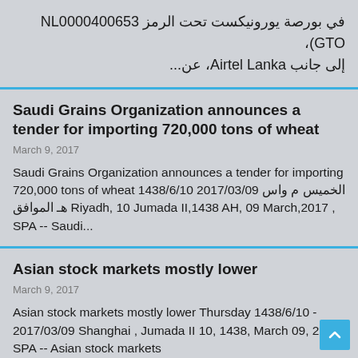في بورصة يورونيكست تحت الرمز NL0000400653 GTO)، إلى جانب Airtel Lanka، عن...
Saudi Grains Organization announces a tender for importing 720,000 tons of wheat
March 9, 2017
Saudi Grains Organization announces a tender for importing 720,000 tons of wheat 1438/6/10 الخميس م واس 2017/03/09 هـ الموافق Riyadh, 10 Jumada II,1438 AH, 09 March,2017 , SPA -- Saudi...
Asian stock markets mostly lower
March 9, 2017
Asian stock markets mostly lower Thursday 1438/6/10 - 2017/03/09 Shanghai , Jumada II 10, 1438, March 09, 2017, SPA -- Asian stock markets